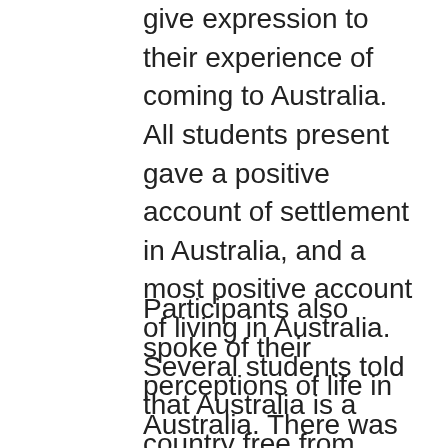give expression to their experience of coming to Australia. All students present gave a positive account of settlement in Australia, and a most positive account of living in Australia. Several students told that Australia is a country free from internecine conflict in neighbourhoods and war; Australia was a country of peace, and students deeply appreciated this. Several spoke of their experiences of war and their experiences of migration to Australia.
Participants also spoke of their perceptions of life in Australia. There was absence of blatant corruption and Police appeared to be helpful and trustworthy. Several students spoke of police not trustworthy,